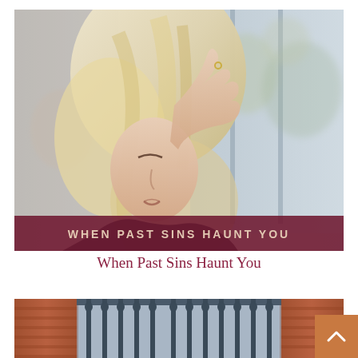[Figure (photo): A blonde woman leaning her head on her hand against a window, with a dark red banner at the bottom reading 'WHEN PAST SINS HAUNT YOU']
When Past Sins Haunt You
[Figure (photo): A building facade with ornate iron gates and brick walls, partially visible at the bottom of the page]